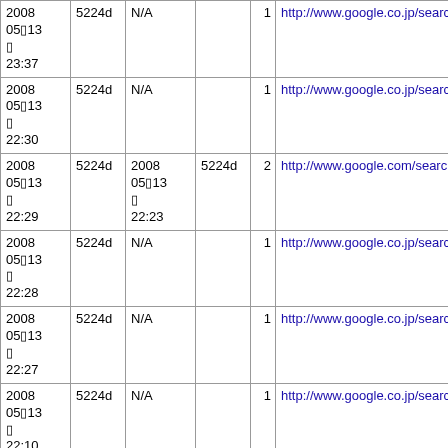| 2008
0513
 
23:37 | 5224d | N/A |  | 1 | http://www.google.co.jp/search?q=Windo... |
| 2008
0513
 
22:30 | 5224d | N/A |  | 1 | http://www.google.co.jp/search?hl=ja&cl... |
| 2008
0513
 
22:29 | 5224d | 2008
0513
 
22:23 | 5224d | 2 | http://www.google.com/search?client=sa... |
| 2008
0513
 
22:28 | 5224d | N/A |  | 1 | http://www.google.co.jp/search?hl=ja&cl... |
| 2008
0513
 
22:27 | 5224d | N/A |  | 1 | http://www.google.co.jp/search?q=hhd&l... |
| 2008
0513
 
22:10 | 5224d | N/A |  | 1 | http://www.google.co.jp/search?hl=ja&lr=... |
| 2008
0513
 
17:59 | 5224d | N/A |  | 1 | http://www.google.co.jp/search?hl=ja&rlz... |